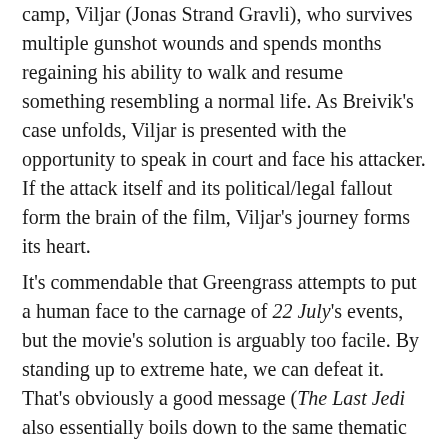camp, Viljar (Jonas Strand Gravli), who survives multiple gunshot wounds and spends months regaining his ability to walk and resume something resembling a normal life. As Breivik's case unfolds, Viljar is presented with the opportunity to speak in court and face his attacker. If the attack itself and its political/legal fallout form the brain of the film, Viljar's journey forms its heart.
It's commendable that Greengrass attempts to put a human face to the carnage of 22 July's events, but the movie's solution is arguably too facile. By standing up to extreme hate, we can defeat it. That's obviously a good message (The Last Jedi also essentially boils down to the same thematic undercurrent), but it's a gross oversimplification of a complex problem. The screenplay, which Greengrass wrote himself, has a